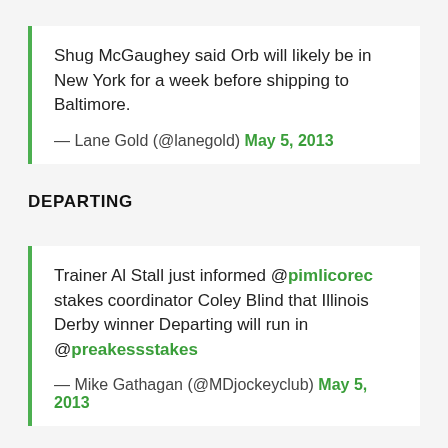Shug McGaughey said Orb will likely be in New York for a week before shipping to Baltimore.
— Lane Gold (@lanegold) May 5, 2013
DEPARTING
Trainer Al Stall just informed @pimlicorec stakes coordinator Coley Blind that Illinois Derby winner Departing will run in @preakessstakes
— Mike Gathagan (@MDjockeyclub) May 5, 2013